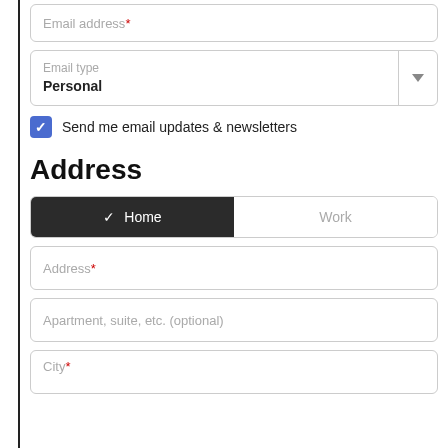Email address*
Email type / Personal
Send me email updates & newsletters
Address
Home / Work tab selector
Address*
Apartment, suite, etc. (optional)
City*